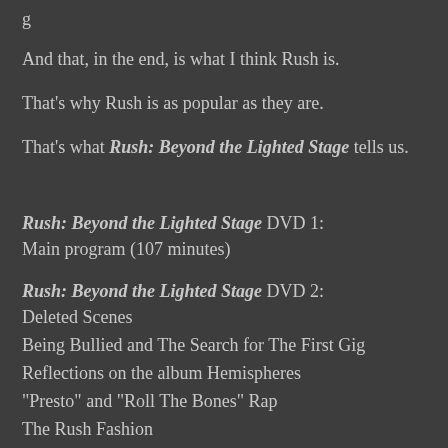And that, in the end, is what I think Rush is.
That's why Rush is as popular as they are.
That's what Rush: Beyond the Lighted Stage tells us.
Rush: Beyond the Lighted Stage DVD 1:
Main program (107 minutes)
Rush: Beyond the Lighted Stage DVD 2:
Deleted Scenes
Being Bullied and The Search for The First Gig
Reflections on the album Hemispheres
"Presto" and "Roll The Bones" Rap
The Rush Fashion
Hobbies on the Road
Rush Trekkies (Rush Con 7)
Pre-Gig Warm-Up
Best I Can (never before seen footage w/ original drummer, John